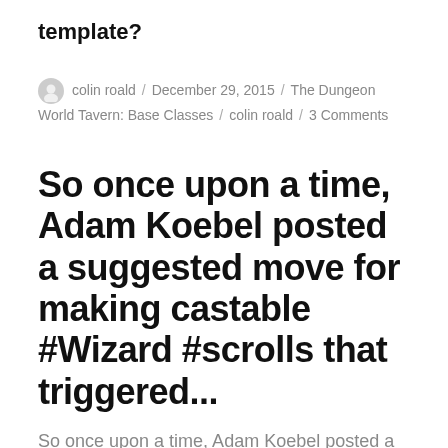template?
colin roald / December 29, 2015 / The Dungeon World Tavern: Base Classes / colin roald / 3 Comments
So once upon a time, Adam Koebel posted a suggested move for making castable #Wizard #scrolls that triggered...
So once upon a time, Adam Koebel posted a suggested move for making castable #Wizard #scrolls that triggered